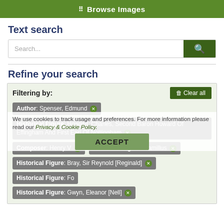Browse Images
Text search
Search...
Refine your search
Filtering by:
Author: Spenser, Edmund ✕
Historical Figure: Howard, Charles, Second Baron Howard Of Effingham And First Earl Of Nottingham ✕
Composer: Henry V ✕   Historical Figure: Camillus ✕
Historical Figure: Bray, Sir Reynold [Reginald] ✕
Historical Figure: Fo...
Historical Figure: Gwyn, Eleanor [Nell] ✕
We use cookies to track usage and preferences. For more information please read our Privacy & Cookie Policy.
ACCEPT